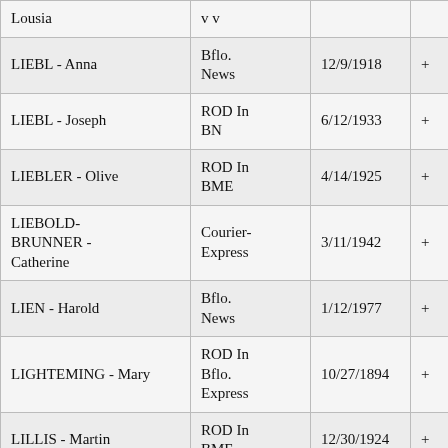| Name | Source | Date |  |
| --- | --- | --- | --- |
| Lousia | v v |  |  |
| LIEBL - Anna | Bflo. News | 12/9/1918 | + |
| LIEBL - Joseph | ROD In BN | 6/12/1933 | + |
| LIEBLER - Olive | ROD In BME | 4/14/1925 | + |
| LIEBOLD-BRUNNER - Catherine | Courier-Express | 3/11/1942 | + |
| LIEN - Harold | Bflo. News | 1/12/1977 | + |
| LIGHTEMING - Mary | ROD In Bflo. Express | 10/27/1894 | + |
| LILLIS - Martin | ROD In BME | 12/30/1924 | + |
|  | Bflo. |  |  |